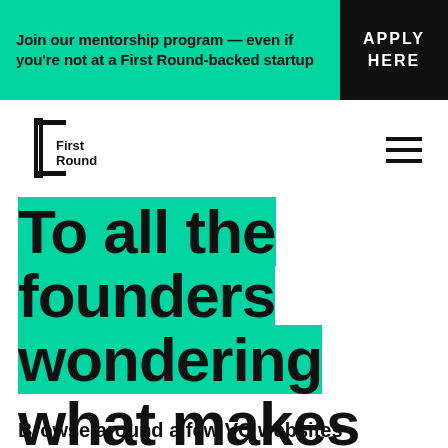Join our mentorship program — even if you're not at a First Round-backed startup | APPLY HERE
[Figure (logo): First Round capital logo — bracket/brace shape with text 'First Round']
To all the founders wondering what makes us different
Browse around a few VC websites